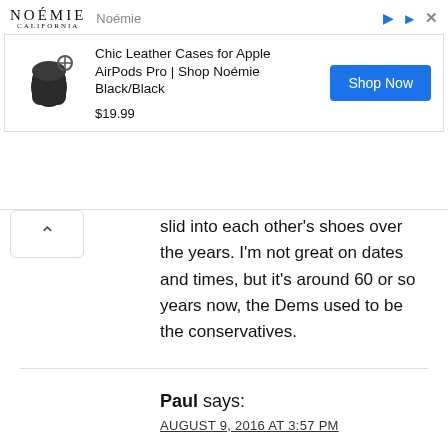[Figure (screenshot): Advertisement banner for Noémie California - Chic Leather Cases for Apple AirPods Pro, priced at $19.99 with a Shop Now button]
slid into each other's shoes over the years. I'm not great on dates and times, but it's around 60 or so years now, the Dems used to be the conservatives.
Paul says:
AUGUST 9, 2016 AT 3:57 PM

That's a stupid question
William Klabunde says:
JULY 1, 2017 AT 5:01 PM

It's Funny they blame the liberal Democrats but the City of Tulsa is a Republican controlled city. Shows you Republican Conservative logic or lack of.